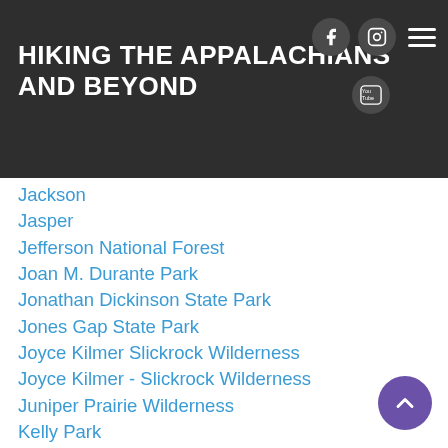HIKING THE APPALACHIANS AND BEYOND
Jackson
Jasper
Jefferson National Forest
Joan M. Durante Park
Jonathan Dickinson State Park
Jones Gap State Park
Joyce Kilmer Slickrock Wilderness
Joyce Kilmer - Slickrock Wilderness
Juniper Prairie Wilderness
Kelly Park
Keown Falls Recreation Area
Kolomoki Mounds State Park
LaFayette
Lake City Area
Lake George Wild Forest